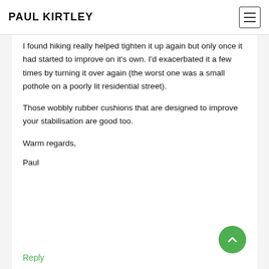PAUL KIRTLEY
I found hiking really helped tighten it up again but only once it had started to improve on it's own. I'd exacerbated it a few times by turning it over again (the worst one was a small pothole on a poorly lit residential street).
Those wobbly rubber cushions that are designed to improve your stabilisation are good too.
Warm regards,
Paul
Reply